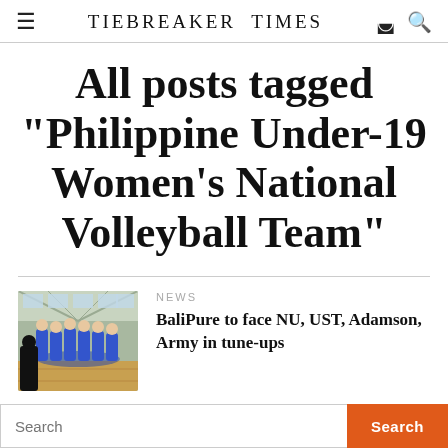TIEBREAKER TIMES
All posts tagged "Philippine Under-19 Women's National Volleyball Team"
[Figure (photo): Volleyball players in blue uniforms huddled together on a gymnasium court]
NEWS
BaliPure to face NU, UST, Adamson, Army in tune-ups